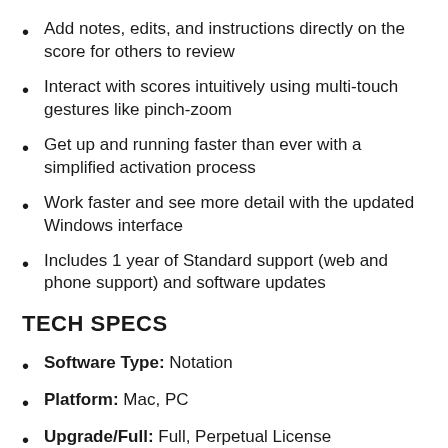Add notes, edits, and instructions directly on the score for others to review
Interact with scores intuitively using multi-touch gestures like pinch-zoom
Get up and running faster than ever with a simplified activation process
Work faster and see more detail with the updated Windows interface
Includes 1 year of Standard support (web and phone support) and software updates
TECH SPECS
Software Type: Notation
Platform: Mac, PC
Upgrade/Full: Full, Perpetual License
Download/Boxed: Download